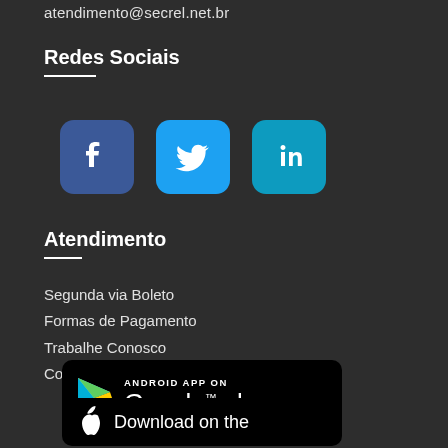atendimento@secrel.net.br
Redes Sociais
[Figure (illustration): Social media icons for Facebook, Twitter, and LinkedIn]
Atendimento
Segunda via Boleto
Formas de Pagamento
Trabalhe Conosco
Contato
[Figure (illustration): Google Play badge: ANDROID APP ON Google play]
[Figure (illustration): Apple App Store badge: Download on the]